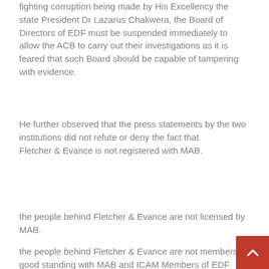fighting corruption being made by His Excellency the state President Dr Lazarus Chakwera, the Board of Directors of EDF must be suspended immediately to allow the ACB to carry out their investigations as it is feared that such Board should be capable of tampering with evidence.
He further observed that the press statements by the two institutions did not refute or deny the fact that Fletcher & Evance is not registered with MAB.
the people behind Fletcher & Evance are not licensed by MAB.
the people behind Fletcher & Evance are not members of good standing with MAB and ICAM Members of EDF Board have illegally been